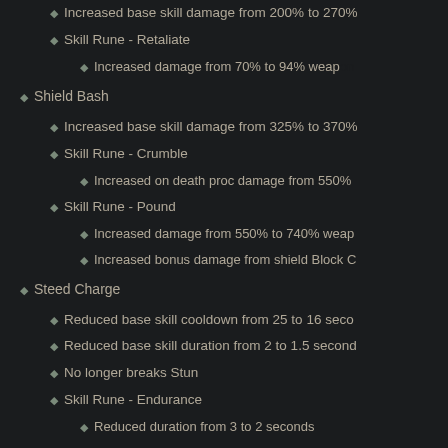Increased base skill damage from 200% to 270%
Skill Rune - Retaliate
Increased damage from 70% to 94% weapon
Shield Bash
Increased base skill damage from 325% to 370%
Skill Rune - Crumble
Increased on death proc damage from 550%
Skill Rune - Pound
Increased damage from 550% to 740% weap
Increased bonus damage from shield Block C
Steed Charge
Reduced base skill cooldown from 25 to 16 seco
Reduced base skill duration from 2 to 1.5 second
No longer breaks Stun
Skill Rune - Endurance
Reduced duration from 3 to 2 seconds